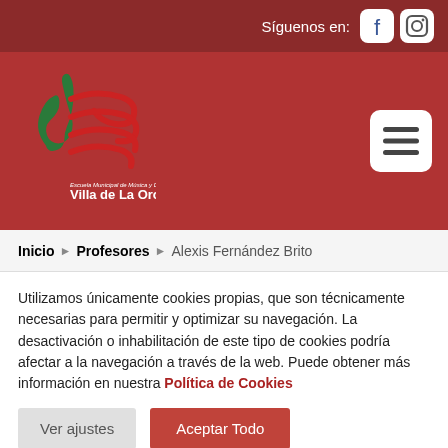Síguenos en: [Facebook] [Instagram]
[Figure (logo): Escuela Municipal de Música y Danza Villa de La Orotava logo with musical clef and text]
Inicio ▶ Profesores ▶ Alexis Fernández Brito
Utilizamos únicamente cookies propias, que son técnicamente necesarias para permitir y optimizar su navegación. La desactivación o inhabilitación de este tipo de cookies podría afectar a la navegación a través de la web. Puede obtener más información en nuestra Política de Cookies
Ver ajustes | Aceptar Todo